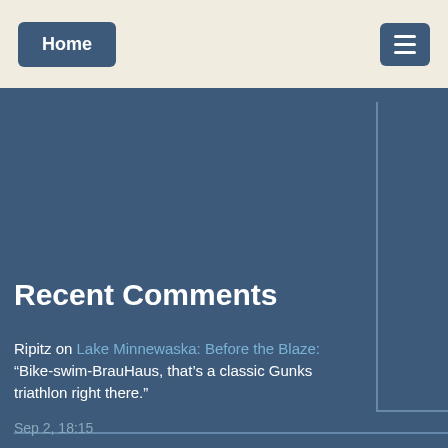Home | [menu]
[Figure (screenshot): Dark blue content area with a partially visible image placeholder box with border on right and bottom sides, and a sidebar column on the right]
Recent Comments
Ripitz on Lake Minnewaska: Before the Blaze: “Bike-swim-BrauHaus, that’s a classic Gunks triathlon right there.”
Sep 2, 18:15
Brownski on Lake Minnewaska: Before the Blaze: “Great story, as everybody said, but those are some stunning pics as well. You really